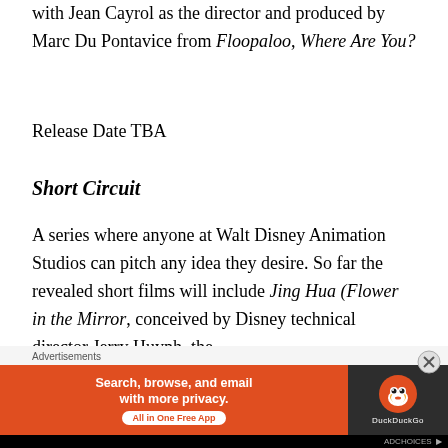with Jean Cayrol as the director and produced by Marc Du Pontavice from Floopaloo, Where Are You?
Release Date TBA
Short Circuit
A series where anyone at Walt Disney Animation Studios can pitch any idea they desire. So far the revealed short films will include Jing Hua (Flower in the Mirror, conceived by Disney technical director Jerry Huynh, the
[Figure (other): DuckDuckGo advertisement banner: orange background with text 'Search, browse, and email with more privacy. All in One Free App' and DuckDuckGo duck logo on dark background]